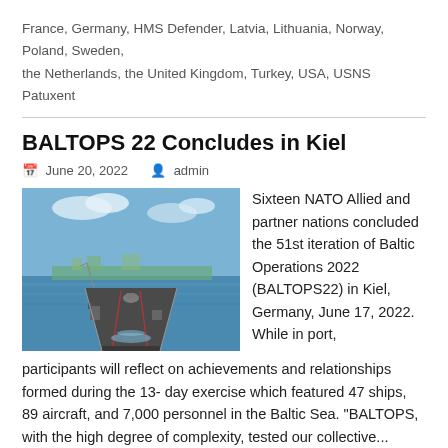France, Germany, HMS Defender, Latvia, Lithuania, Norway, Poland, Sweden, the Netherlands, the United Kingdom, Turkey, USA, USNS Patuxent
BALTOPS 22 Concludes in Kiel
June 20, 2022   admin
[Figure (photo): Aerial view from the deck of a naval ship sailing in a Baltic harbor, with city skyline visible in the background under a partly cloudy sky.]
Sixteen NATO Allied and partner nations concluded the 51st iteration of Baltic Operations 2022 (BALTOPS22) in Kiel, Germany, June 17, 2022. While in port, participants will reflect on achievements and relationships formed during the 13- day exercise which featured 47 ships, 89 aircraft, and 7,000 personnel in the Baltic Sea. "BALTOPS, with the high degree of complexity, tested our collective...